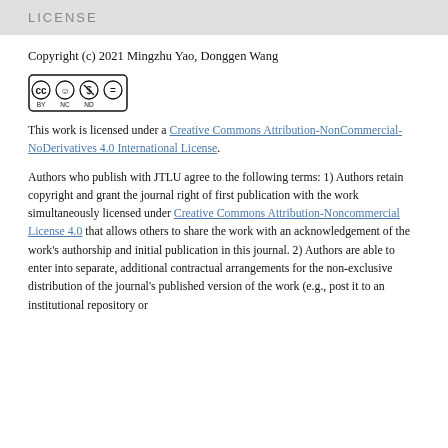LICENSE
Copyright (c) 2021 Mingzhu Yao, Donggen Wang
[Figure (logo): Creative Commons BY NC ND license badge]
This work is licensed under a Creative Commons Attribution-NonCommercial-NoDerivatives 4.0 International License.
Authors who publish with JTLU agree to the following terms: 1) Authors retain copyright and grant the journal right of first publication with the work simultaneously licensed under Creative Commons Attribution-Noncommercial License 4.0 that allows others to share the work with an acknowledgement of the work's authorship and initial publication in this journal. 2) Authors are able to enter into separate, additional contractual arrangements for the non-exclusive distribution of the journal's published version of the work (e.g., post it to an institutional repository or